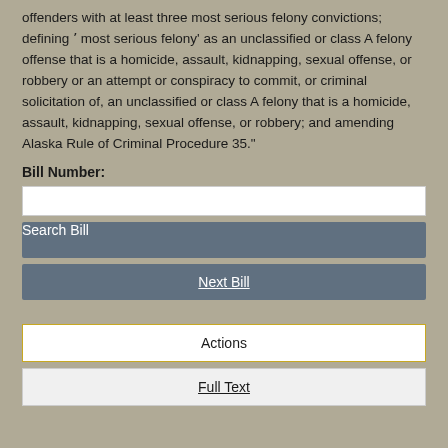offenders with at least three most serious felony convictions; defining 'most serious felony' as an unclassified or class A felony offense that is a homicide, assault, kidnapping, sexual offense, or robbery or an attempt or conspiracy to commit, or criminal solicitation of, an unclassified or class A felony that is a homicide, assault, kidnapping, sexual offense, or robbery; and amending Alaska Rule of Criminal Procedure 35."
Bill Number:
Search Bill
Next Bill
Actions
Full Text